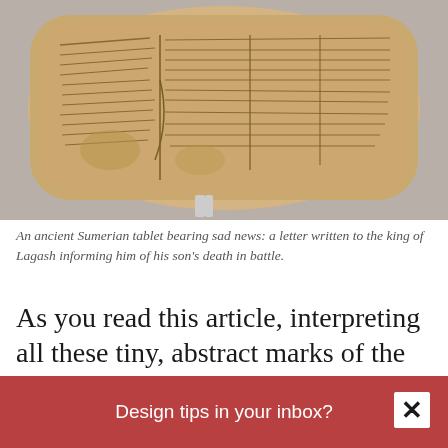[Figure (photo): An ancient Sumerian cuneiform clay tablet with wedge-shaped inscriptions covering its surface, displayed against a grey background on a stand.]
An ancient Sumerian tablet bearing sad news: a letter written to the king of Lagash informing him of his son's death in battle.
As you read this article, interpreting all these tiny, abstract marks of the Latin Alphabet into
Design tips in your inbox?